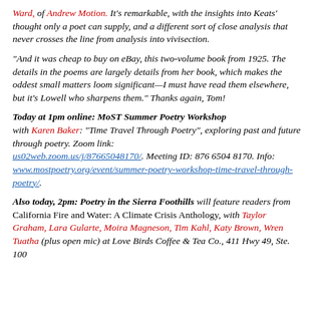Ward, of Andrew Motion. It's remarkable, with the insights into Keats' thought only a poet can supply, and a different sort of close analysis that never crosses the line from analysis into vivisection.
“And it was cheap to buy on eBay, this two-volume book from 1925. The details in the poems are largely details from her book, which makes the oddest small matters loom significant—I must have read them elsewhere, but it's Lowell who sharpens them.” Thanks again, Tom!
Today at 1pm online: MoST Summer Poetry Workshop with Karen Baker: “Time Travel Through Poetry”, exploring past and future through poetry. Zoom link: us02web.zoom.us/j/87665048170/. Meeting ID: 876 6504 8170. Info: www.mostpoetry.org/event/summer-poetry-workshop-time-travel-through-poetry/.
Also today, 2pm: Poetry in the Sierra Foothills will feature readers from California Fire and Water: A Climate Crisis Anthology, with Taylor Graham, Lara Gularte, Moira Magneson, Tim Kahl, Katy Brown, Wren Tuatha (plus open mic) at Love Birds Coffee & Tea Co., 411 Hwy 49, Ste. 100